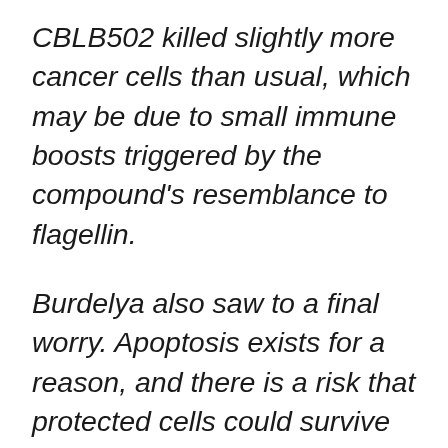CBLB502 killed slightly more cancer cells than usual, which may be due to small immune boosts triggered by the compound's resemblance to flagellin.
Burdelya also saw to a final worry. Apoptosis exists for a reason, and there is a risk that protected cells could survive the effects of radiation but live with damage that will lead to cancer in the long run. With this in mind, Burdelya tested the drug on a